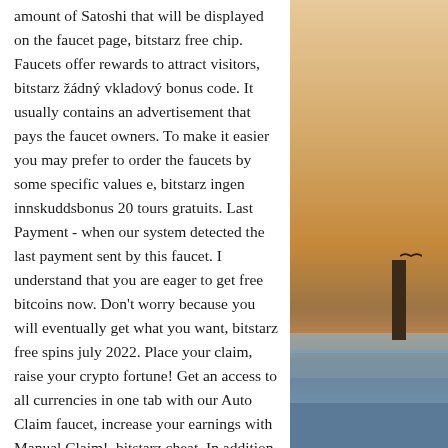amount of Satoshi that will be displayed on the faucet page, bitstarz free chip. Faucets offer rewards to attract visitors, bitstarz žádný vkladový bonus code. It usually contains an advertisement that pays the faucet owners. To make it easier you may prefer to order the faucets by some specific values e, bitstarz ingen innskuddsbonus 20 tours gratuits. Last Payment - when our system detected the last payment sent by this faucet. I understand that you are eager to get free bitcoins now. Don't worry because you will eventually get what you want, bitstarz free spins july 2022. Place your claim, raise your crypto fortune! Get an access to all currencies in one tab with our Auto Claim faucet, increase your earnings with Manual Claim!, bitstarz cheat. In addition, the rewards attract more visitors to come back regularly to earn more free bitcoins or claim their compensation. As a result, the visitors spend more time on the
[Figure (photo): Sunset photo showing a warm orange sky with a bird perched on top of a wooden post silhouetted against the sunset, with water/ocean in the foreground.]